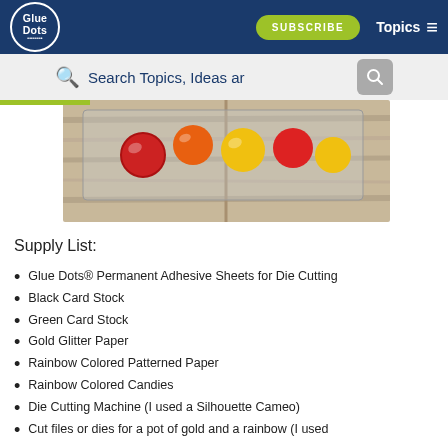Glue Dots - SUBSCRIBE - Topics
[Figure (photo): Photo showing rainbow colored candies in a clear container on a wooden surface, with red and yellow round candies visible]
Supply List:
Glue Dots® Permanent Adhesive Sheets for Die Cutting
Black Card Stock
Green Card Stock
Gold Glitter Paper
Rainbow Colored Patterned Paper
Rainbow Colored Candies
Die Cutting Machine (I used a Silhouette Cameo)
Cut files or dies for a pot of gold and a rainbow (I used Cut files 75908 and 99558)